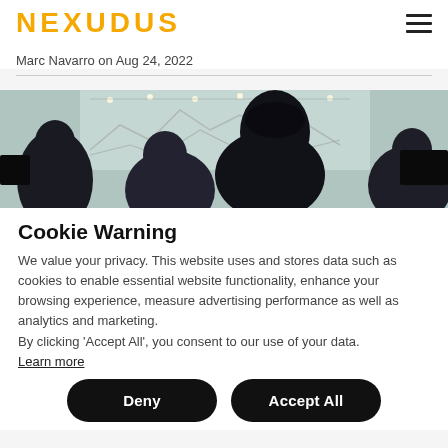NEXUDUS
Marc Navarro on Aug 24, 2022
[Figure (photo): People working together in an office, seen from behind, with a whiteboard featuring charts and string lights in the background.]
Cookie Warning
We value your privacy. This website uses and stores data such as cookies to enable essential website functionality, enhance your browsing experience, measure advertising performance as well as analytics and marketing.
By clicking 'Accept All', you consent to our use of your data.
Learn more
Deny
Accept All